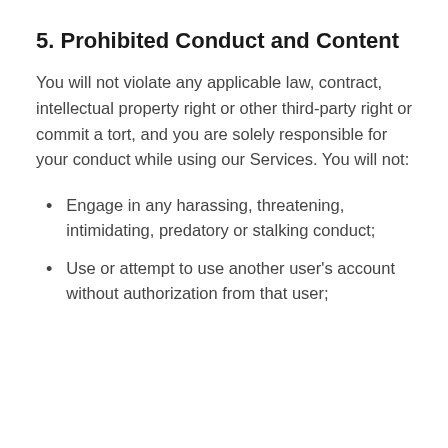5. Prohibited Conduct and Content
You will not violate any applicable law, contract, intellectual property right or other third-party right or commit a tort, and you are solely responsible for your conduct while using our Services. You will not:
Engage in any harassing, threatening, intimidating, predatory or stalking conduct;
Use or attempt to use another user’s account without authorization from that user;